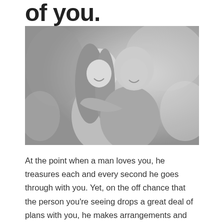of you.
[Figure (photo): Black and white photograph of a smiling couple embracing outdoors, woman hugging man from behind, both happy, blurred nature background]
At the point when a man loves you, he treasures each and every second he goes through with you. Yet, on the off chance that the person you're seeing drops a great deal of plans with you, he makes arrangements and afterward bails ultimately, it very well may be on the grounds that he had another person to meet who was more basic.